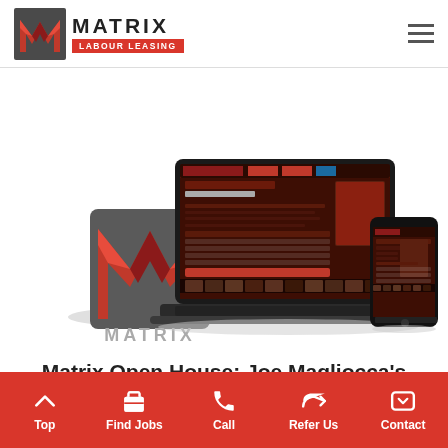MATRIX LABOUR LEASING
[Figure (screenshot): Hero image showing the Matrix logo (red M icon with MATRIX text below) alongside a laptop and smartphone displaying the Matrix website (dark red themed UI with photos of workers). White background.]
Matrix Open House: Joe Magliocca's Testimonial
Top | Find Jobs | Call | Refer Us | Contact